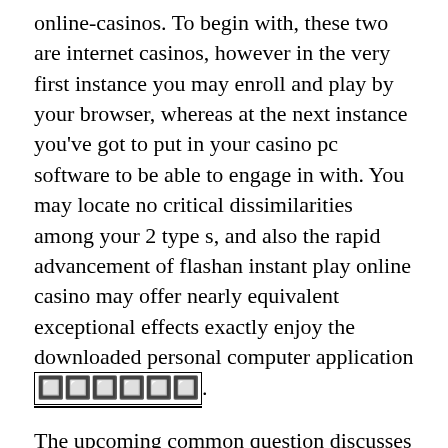online-casinos. To begin with, these two are internet casinos, however in the very first instance you may enroll and play by your browser, whereas at the next instance you've got to put in your casino pc software to be able to engage in with. You may locate no critical dissimilarities among your 2 type s, and also the rapid advancement of flashan instant play online casino may offer nearly equivalent exceptional effects exactly enjoy the downloaded personal computer application [???????].
The upcoming common question discusses how the drama chances: Can there be an drama free of price possibility? Even the overwhelming better part of the online casinos offer you this method, at which no real